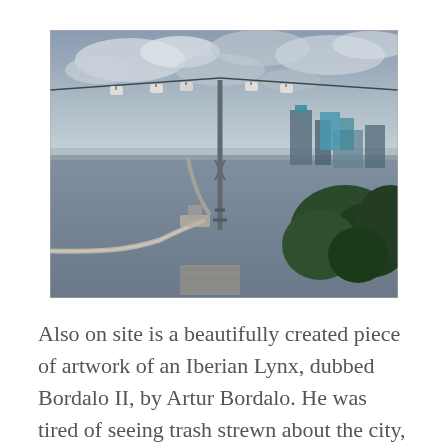[Figure (photo): Aerial view of a waterfront area with a cable car system, a curved pier or walkway extending into gray water, trees in the foreground right, city buildings in the background right, and an overcast sky.]
Also on site is a beautifully created piece of artwork of an Iberian Lynx, dubbed Bordalo II, by Artur Bordalo. He was tired of seeing trash strewn about the city, so he decided to do something about it and make art. This art has been on site since Summer